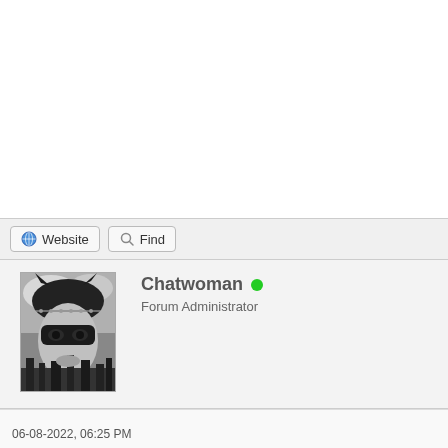[Figure (screenshot): Blank white top area of a web forum page]
Website   Find
[Figure (photo): Black and white photo of a person in a cat mask (Catwoman)]
Chatwoman
Forum Administrator
06-08-2022, 06:25 PM